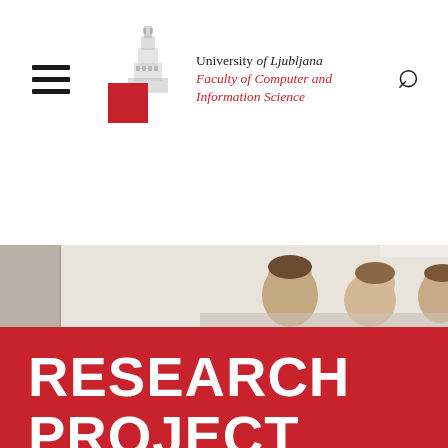[Figure (logo): University of Ljubljana, Faculty of Computer and Information Science logo with building illustration and red square]
[Figure (photo): Photo strip showing students in a classroom, viewed from behind, in a bright room]
RESEARCH PROJECT